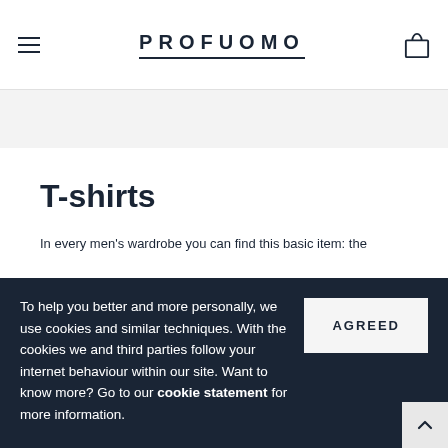PROFUOMO
T-shirts
In every men's wardrobe you can find this basic item: the T-shirt. Basic men's T-shirts are in fact ideal for every
To help you better and more personally, we use cookies and similar techniques. With the cookies we and third parties follow your internet behaviour within our site. Want to know more? Go to our cookie statement for more information.